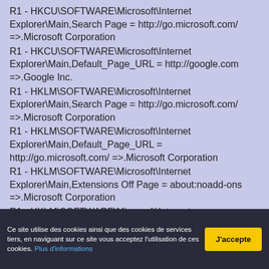R1 - HKCU\SOFTWARE\Microsoft\Internet Explorer\Main,Search Page = http://go.microsoft.com/ =>.Microsoft Corporation
R1 - HKCU\SOFTWARE\Microsoft\Internet Explorer\Main,Default_Page_URL = http://google.com =>.Google Inc.
R1 - HKLM\SOFTWARE\Microsoft\Internet Explorer\Main,Search Page = http://go.microsoft.com/ =>.Microsoft Corporation
R1 - HKLM\SOFTWARE\Microsoft\Internet Explorer\Main,Default_Page_URL = http://go.microsoft.com/ =>.Microsoft Corporation
R1 - HKLM\SOFTWARE\Microsoft\Internet Explorer\Main,Extensions Off Page = about:noadd-ons =>.Microsoft Corporation
R1 - HKLM\SOFTWARE\Microsoft\Internet Explorer\Main,Security Risk Page = about:securityrisk =>.Microsoft Corporation
R1 - HKLM\SOFTWARE\Microsoft\Internet Explorer\Main,Default_Search_URL = http://...
Ce site utilise des cookies ainsi que des cookies de services tiers, en naviguant sur ce site vous acceptez l'utilisation de ces cookies. Plus d'informations